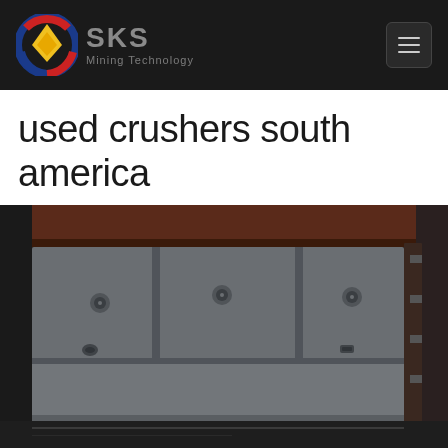SKS Mining Technology
used crushers south america
[Figure (photo): Close-up photo of a used industrial crusher machine, showing grey metal panels with bolts and fasteners, dark background, industrial mining equipment]